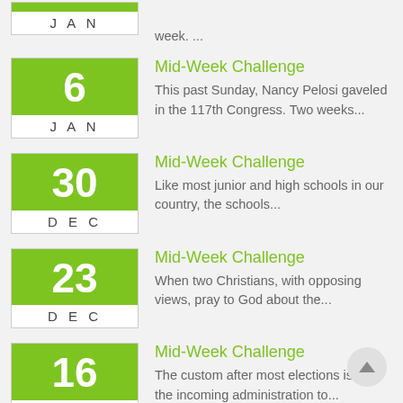week. ...
Mid-Week Challenge
This past Sunday, Nancy Pelosi gaveled in the 117th Congress.  Two weeks...
Mid-Week Challenge
Like most junior and high schools in our country, the schools...
Mid-Week Challenge
When two Christians, with opposing views, pray to God about the...
Mid-Week Challenge
The custom after most elections is for the incoming administration to...
Mid-Week Challenge
As I read through the headlines today I came